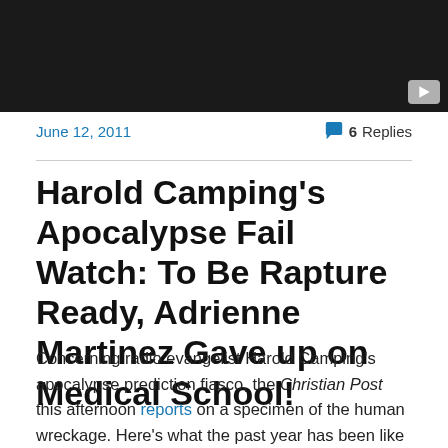[Figure (screenshot): Dark/black video thumbnail with YouTube play button in bottom-right corner]
June 12, 2011
6 Replies
Harold Camping’s Apocalypse Fail Watch: To Be Rapture Ready, Adrienne Martinez Gave up on Medical School!
Concerning radio evangelist Harold Camping's apocalypse prediction fiasco, the Christian Post this afternoon reports on a specimen of the human wreckage. Here's what the past year has been like for the Martinez